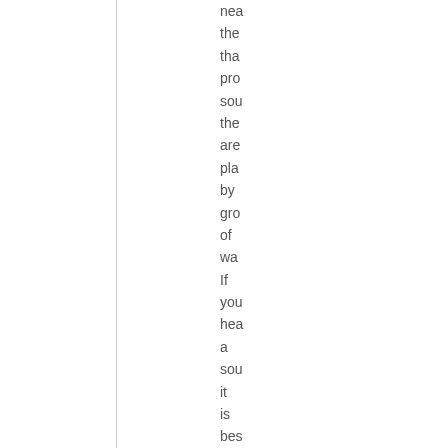nea the tha pro sou the are pla by gro of wa If you hea a sou it is bes to foll it, bec doi